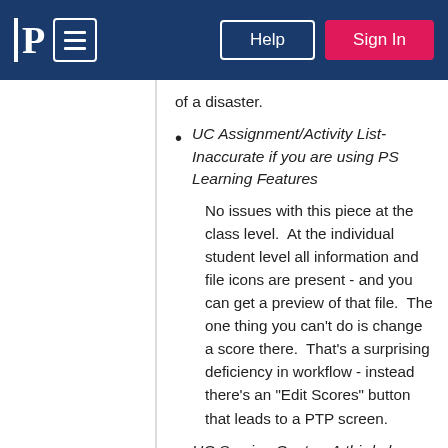P [logo] [menu] Help Sign In
of a disaster.
UC Assignment/Activity List- Inaccurate if you are using PS Learning Features
No issues with this piece at the class level.  At the individual student level all information and file icons are present - and you can get a preview of that file.  The one thing you can't do is change a score there.  That's a surprising deficiency in workflow - instead there's an "Edit Scores" button that leads to a PTP screen.
UC Scoring Center- A third place for